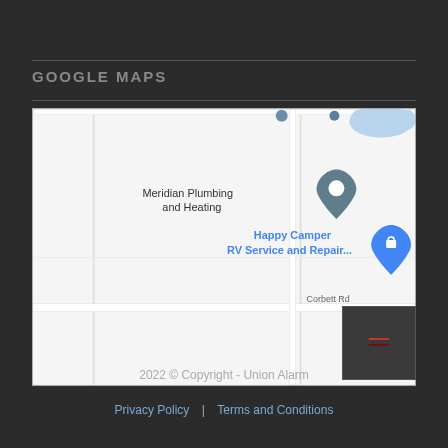GOOGLE MAPS
[Figure (map): Google Maps screenshot showing Meridian Plumbing and Heating, Happy Camper RV Service and Repair..., Con-Restor Technology, with Corbett Rd and Corbett Rd 61N visible.]
2022 © Copyright - Union Alarm
Privacy Policy | Terms and Conditions